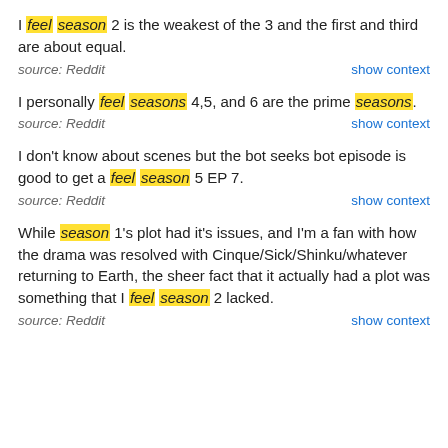I feel season 2 is the weakest of the 3 and the first and third are about equal.
source: Reddit   show context
I personally feel seasons 4,5, and 6 are the prime seasons.
source: Reddit   show context
I don't know about scenes but the bot seeks bot episode is good to get a feel season 5 EP 7.
source: Reddit   show context
While season 1's plot had it's issues, and I'm a fan with how the drama was resolved with Cinque/Sick/Shinku/whatever returning to Earth, the sheer fact that it actually had a plot was something that I feel season 2 lacked.
source: Reddit   show context